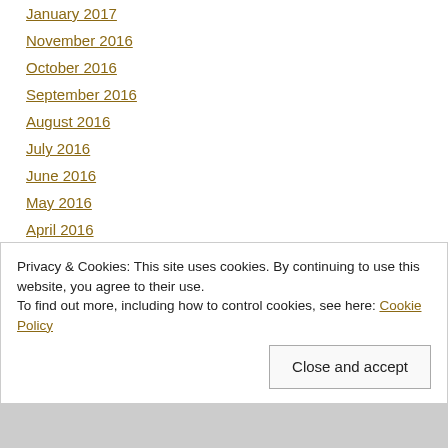January 2017
November 2016
October 2016
September 2016
August 2016
July 2016
June 2016
May 2016
April 2016
March 2016
February 2016
January 2016
Privacy & Cookies: This site uses cookies. By continuing to use this website, you agree to their use.
To find out more, including how to control cookies, see here: Cookie Policy
Close and accept